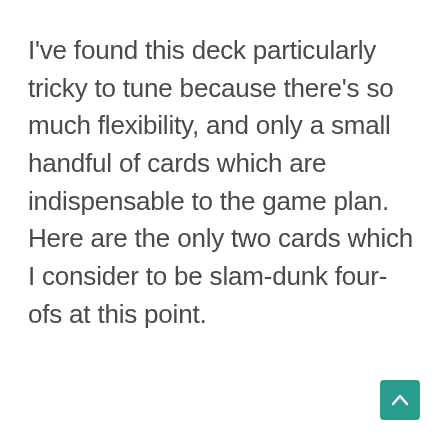I've found this deck particularly tricky to tune because there's so much flexibility, and only a small handful of cards which are indispensable to the game plan. Here are the only two cards which I consider to be slam-dunk four-ofs at this point.